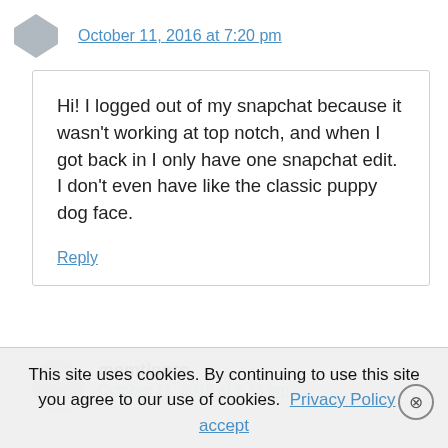October 11, 2016 at 7:20 pm
Hi! I logged out of my snapchat because it wasn't working at top notch, and when I got back in I only have one snapchat edit. I don't even have like the classic puppy dog face.
Reply
memtigers
October 11, 2016 at 7:33 pm
This site uses cookies. By continuing to use this site you agree to our use of cookies. Privacy Policy   accept